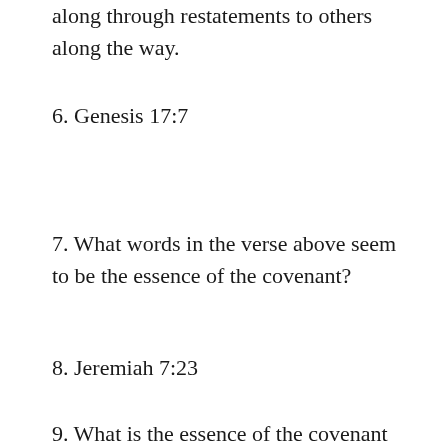along through restatements to others along the way.
6. Genesis 17:7
7. What words in the verse above seem to be the essence of the covenant?
8. Jeremiah 7:23
9. What is the essence of the covenant as seen